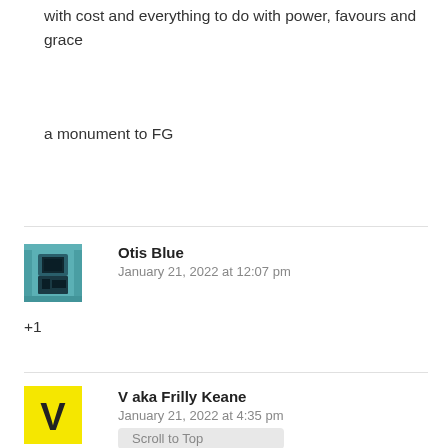with cost and everything to do with power, favours and grace
a monument to FG
[Figure (photo): Avatar photo of Otis Blue: abstract figure in teal/dark tones]
Otis Blue
January 21, 2022 at 12:07 pm
+1
[Figure (logo): Avatar for V aka Frilly Keane: yellow background with bold black V]
V aka Frilly Keane
January 21, 2022 at 4:35 pm
Scroll to Top